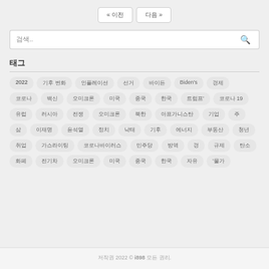[Figure (screenshot): Navigation pagination buttons: previous and next page buttons]
[Figure (screenshot): Search input box with placeholder text and search icon button]
태그
[Figure (infographic): Tag cloud with Korean and English tags including: 2022, 기후 변화, 인플레이션, 선거, 바이든, Biden's, 경제, 코로나, 백신, 오미크론, 미국, 중국, 한국, 트럼프', 코로나 19, 유럽, 러시아, 전쟁, 오미크론, 북한, 아프가니스탄, 기업, 주식, 삼성, 이재명, 윤석열, 정치, 낙태, 기후, 에너지, 부동산, 청년, 취업, 가스라이팅, 코로나바이러스, 민주당, 방역, 경찰, 규제, 탄소, 화폐, 전기차, 오미크론, 미국, 중국, 한국, 자유, '물가]
저작권 2022 © i898 모든 권리.